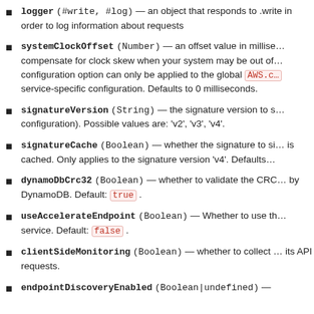logger (#write, #log) — an object that responds to .write in order to log information about requests
systemClockOffset (Number) — an offset value in milliseconds to compensate for clock skew when your system may be out of ... configuration option can only be applied to the global AWS.c... service-specific configuration. Defaults to 0 milliseconds.
signatureVersion (String) — the signature version to s... configuration). Possible values are: 'v2', 'v3', 'v4'.
signatureCache (Boolean) — whether the signature to si... is cached. Only applies to the signature version 'v4'. Defaults...
dynamoDbCrc32 (Boolean) — whether to validate the CRC... by DynamoDB. Default: true .
useAccelerateEndpoint (Boolean) — Whether to use th... service. Default: false .
clientSideMonitoring (Boolean) — whether to collect ... its API requests.
endpointDiscoveryEnabled (Boolean|undefined) — ...